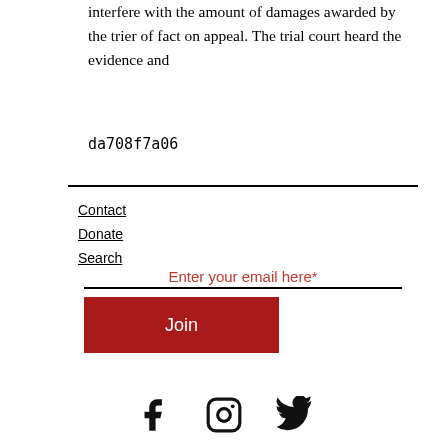interfere with the amount of damages awarded by the trier of fact on appeal. The trial court heard the evidence and
da708f7a06
Contact
Donate
Search
Enter your email here*
Join
[Figure (other): Social media icons: Facebook, Instagram, Twitter]